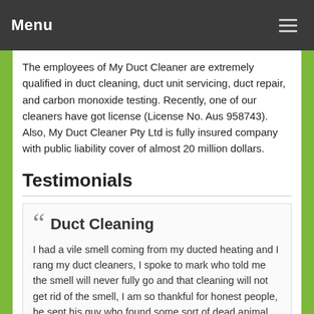Menu
The employees of My Duct Cleaner are extremely qualified in duct cleaning, duct unit servicing, duct repair, and carbon monoxide testing. Recently, one of our cleaners have got license (License No. Aus 958743). Also, My Duct Cleaner Pty Ltd is fully insured company with public liability cover of almost 20 million dollars.
Testimonials
Duct Cleaning
I had a vile smell coming from my ducted heating and I rang my duct cleaners, I spoke to mark who told me the smell will never fully go and that cleaning will not get rid of the smell, I am so thankful for honest people, he sent his guy who found some sort of dead animal. Thank you for your honesty and prompt service.